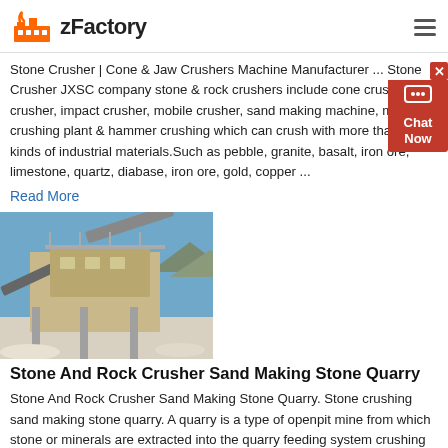zFactory
Stone Crusher | Cone & Jaw Crushers Machine Manufacturer ... Stone Crusher JXSC company stone & rock crushers include cone crusher, jaw crusher, impact crusher, mobile crusher, sand making machine, mobile crushing plant & hammer crushing which can crush with more than 20 kinds of industrial materials.Such as pebble, granite, basalt, iron ore, limestone, quartz, diabase, iron ore, gold, copper ...
Read More
[Figure (photo): Industrial stone crusher and sand making equipment at a quarry, with conveyor belts and machinery against a blue sky.]
Stone And Rock Crusher Sand Making Stone Quarry
Stone And Rock Crusher Sand Making Stone Quarry. Stone crushing sand making stone quarry. A quarry is a type of openpit mine from which stone or minerals are extracted into the quarry feeding system crushing and screening systemsystem sand sand crusher equipment after making a careful analysis of research and field trip cone stone crusher and is